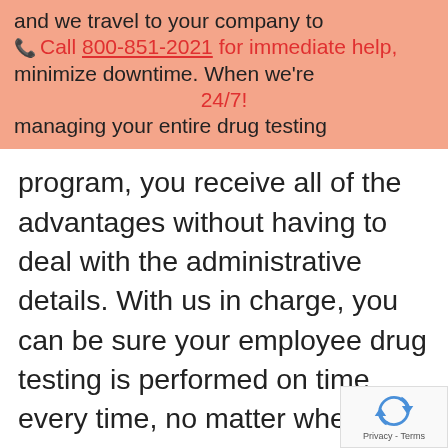and we travel to your company to minimize downtime. When we're managing your entire drug testing
Call 800-851-2021 for immediate help, 24/7!
program, you receive all of the advantages without having to deal with the administrative details. With us in charge, you can be sure your employee drug testing is performed on time, every time, no matter where your team are or when you need them tested.